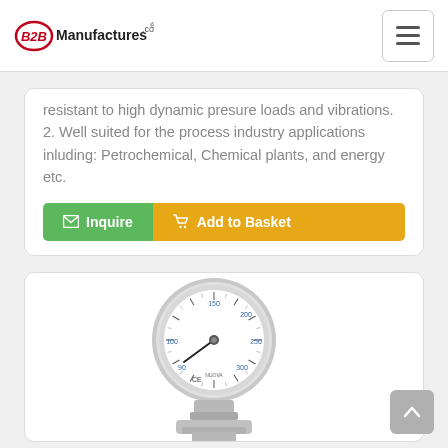B2BManufactures.com
resistant to high dynamic presure loads and vibrations.
2. Well suited for the process industry applications inluding: Petrochemical, Chemical plants, and energy etc.
[Figure (screenshot): Green Inquire button and orange Add to Basket button]
[Figure (photo): Stainless steel pressure gauge with diaphragm seal, showing dial face with graduated scale and CE marking, with sanitary/flanged process connection at bottom]